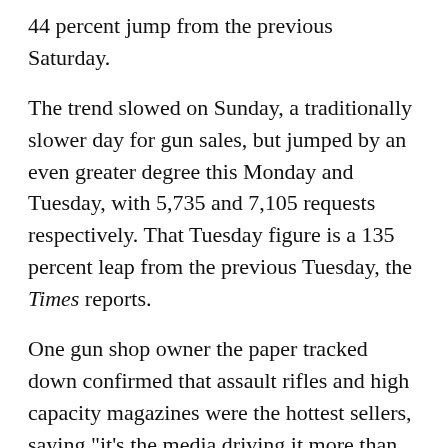44 percent jump from the previous Saturday.
The trend slowed on Sunday, a traditionally slower day for gun sales, but jumped by an even greater degree this Monday and Tuesday, with 5,735 and 7,105 requests respectively. That Tuesday figure is a 135 percent leap from the previous Tuesday, the Times reports.
One gun shop owner the paper tracked down confirmed that assault rifles and high capacity magazines were the hottest sellers, saying "it's the media driving it more than anything else."
Maybe he means guys like Rush Limbaugh, who gave the Sandy Hook tragedy all of a couple days before spending hours on his show warning his listeners that Democrats would "use" the crime to push tighter gun controls.
Don't count on it. While President Obama has created a